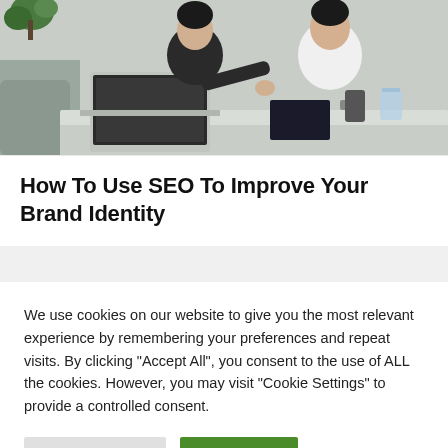[Figure (photo): Two business people sitting at a desk with a laptop, one pointing at a document or screen, office environment with a glass of water on the table.]
How To Use SEO To Improve Your Brand Identity
We use cookies on our website to give you the most relevant experience by remembering your preferences and repeat visits. By clicking "Accept All", you consent to the use of ALL the cookies. However, you may visit "Cookie Settings" to provide a controlled consent.
Cookie Settings | Accept All